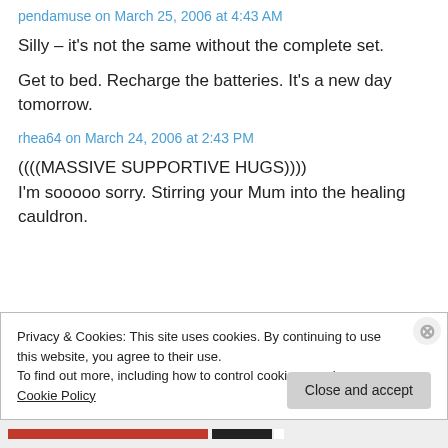pendamuse on March 25, 2006 at 4:43 AM
Silly – it's not the same without the complete set.
Get to bed. Recharge the batteries. It's a new day tomorrow.
rhea64 on March 24, 2006 at 2:43 PM
((((MASSIVE SUPPORTIVE HUGS)))) I'm sooooo sorry. Stirring your Mum into the healing cauldron.
Privacy & Cookies: This site uses cookies. By continuing to use this website, you agree to their use.
To find out more, including how to control cookies, see here: Cookie Policy